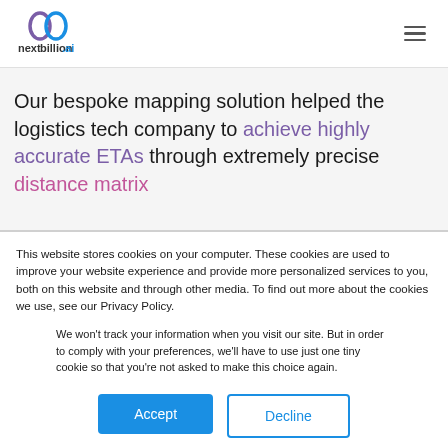[Figure (logo): nextbillion.ai logo with stylized infinity/loop icon in purple and blue]
Our bespoke mapping solution helped the logistics tech company to achieve highly accurate ETAs through extremely precise distance matrix
This website stores cookies on your computer. These cookies are used to improve your website experience and provide more personalized services to you, both on this website and through other media. To find out more about the cookies we use, see our Privacy Policy.
We won't track your information when you visit our site. But in order to comply with your preferences, we'll have to use just one tiny cookie so that you're not asked to make this choice again.
Accept
Decline